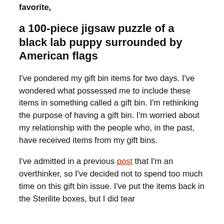favorite,
a 100-piece jigsaw puzzle of a black lab puppy surrounded by American flags
I've pondered my gift bin items for two days. I've wondered what possessed me to include these items in something called a gift bin. I'm rethinking the purpose of having a gift bin. I'm worried about my relationship with the people who, in the past, have received items from my gift bins.
I've admitted in a previous post that I'm an overthinker, so I've decided not to spend too much time on this gift bin issue. I've put the items back in the Sterilite boxes, but I did tear